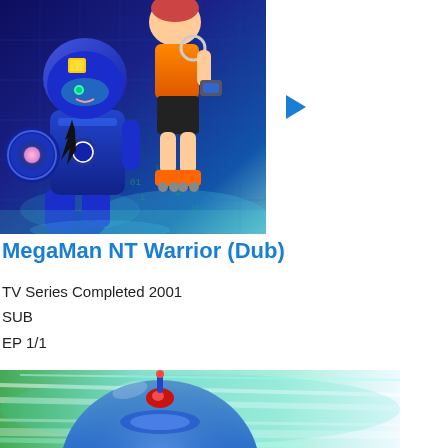[Figure (illustration): Anime key art for MegaMan NT Warrior showing MegaMan character in blue armor with yellow accents holding a glowing buster cannon, alongside a boy in orange vest on rollerblades and another character, set against a digital/cyber background with blue and teal grid patterns]
[Figure (other): Blue play button triangle icon to the right of the main thumbnail]
MegaMan NT Warrior (Dub)
TV Series Completed 2001
SUB
EP 1/1
[Figure (illustration): Bottom thumbnail showing a blue helmet/visor with red gem on a green and teal energy/speed streaks background, partially visible at bottom of page]